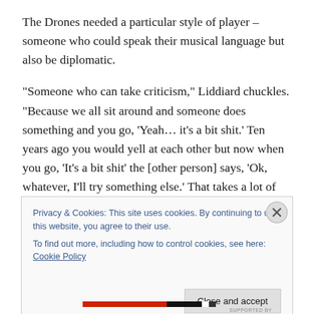The Drones needed a particular style of player – someone who could speak their musical language but also be diplomatic.
“Someone who can take criticism,” Liddiard chuckles. “Because we all sit around and someone does something and you go, ‘Yeah… it’s a bit shit.’ Ten years ago you would yell at each other but now when you go, ‘It’s a bit shit’ the [other person] says, ‘Ok, whatever, I’ll try something else.’ That takes a lot of learning. Stevie’s
Privacy & Cookies: This site uses cookies. By continuing to use this website, you agree to their use.
To find out more, including how to control cookies, see here: Cookie Policy